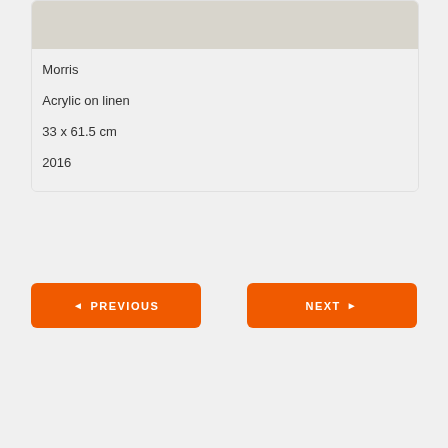[Figure (photo): Top portion of an artwork or image, light beige/gray tone, partially visible at the top of the card]
Morris
Acrylic on linen
33 x 61.5 cm
2016
◄ PREVIOUS
NEXT ►